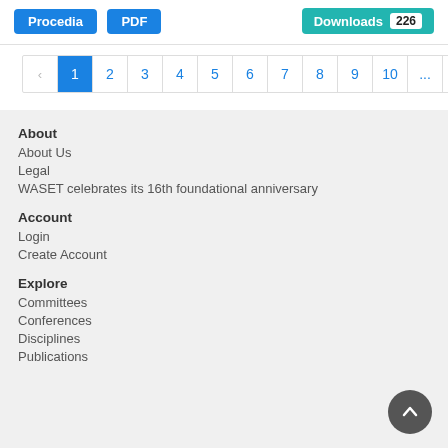[Figure (screenshot): Top bar with Procedia and PDF buttons on the left, and a teal Downloads button showing count 226 on the right]
[Figure (screenshot): Pagination bar showing left chevron, pages 1 (active/blue) through 10, ellipsis, and partial page 7 visible]
About
About Us
Legal
WASET celebrates its 16th foundational anniversary
Account
Login
Create Account
Explore
Committees
Conferences
Disciplines
Publications